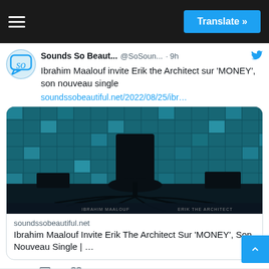≡  Translate »
Sounds So Beaut...  @SoSoun...  · 9h
Ibrahim Maalouf invite Erik the Architect sur 'MONEY', son nouveau single
soundssobeautiful.net/2022/08/25/ibr…
[Figure (photo): Album artwork showing a dark studio room with a chair surrounded by cables, with a teal-tinted mosaic wall of images in the background. Text at bottom reads IBRAHIM MAALOUF and ERIK THE ARCHITECT.]
soundssobeautiful.net
Ibrahim Maalouf Invite Erik The Architect Sur 'MONEY', Son Nouveau Single | …